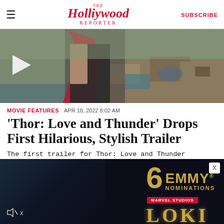The Hollywood Reporter  SUBSCRIBE
[Figure (photo): Hero image of Thor (Chris Hemsworth) in armor against a junkyard/battle scene background, with a play button overlay indicating a video trailer]
MOVIE FEATURES  APR 18, 2022 8:02 AM
'Thor: Love and Thunder' Drops First Hilarious, Stylish Trailer
The first trailer for Thor: Love and Thunder finally descended from the heavens Monday — and it didn't
[Figure (screenshot): Advertisement banner for Loki on Disney+ featuring '6 Emmy Nominations' text in gold, Marvel Studios badge, Loki logo, and mute icon on dark navy background]